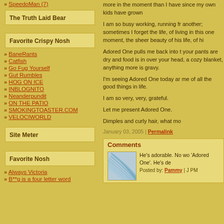» SpeedoMan (7)
The Truth Laid Bear
Favorite Crispy Nosh
» BaneRants
» Catfish
» Go Fug Yourself
» Gut Rumbles
» HOG ON ICE
» INBLOGNITO
» Neanderpundit
» ON THE PATIO
» SMOKINGTOASTER.COM
» VELOCIWORLD
Site Meter
Favorite Nosh
» Always Victoria
» B**g is a four letter word
more in the moment than I have since my own kids have grown
I am so busy working, running from one thing to another; sometimes I forget the luxury of life, of living in this one moment, of the sheer beauty of his life, of hi
Adored One pulls me back into the basics — your pants are dry and food is in your belly, over your head, a cozy blanket, anything more is gravy.
I'm seeing Adored One today and it reminds me of all the good things in life.
I am so very, very, grateful.
Let me present Adored One.
Dimples and curly hair, what mo
January 03, 2005 | Permalink
Comments
He's adorable. No wo 'Adored One'. He's de
Posted by: Pammy | J PM